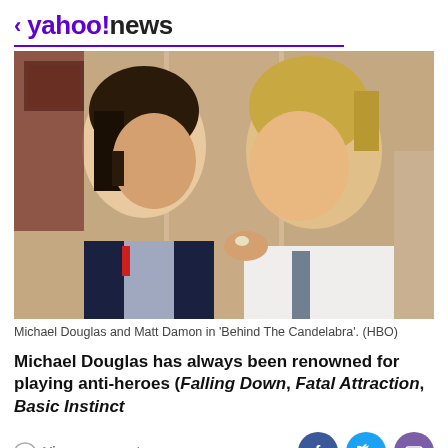< yahoo!news
[Figure (photo): Michael Douglas and Matt Damon facing each other in a scene from 'Behind The Candelabra'. One man has dark hair wearing a vest, the other has blonde hair in a white shirt with a tie.]
Michael Douglas and Matt Damon in 'Behind The Candelabra'. (HBO)
Michael Douglas has always been renowned for playing anti-heroes (Falling Down, Fatal Attraction, Basic Instinct
View comments